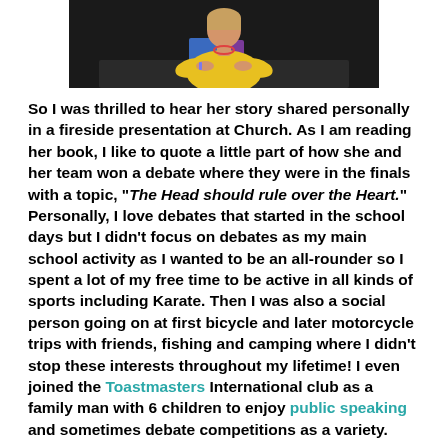[Figure (photo): Photo of a woman in a yellow cardigan sitting at a table, partially cropped at top of page]
So I was thrilled to hear her story shared personally in a fireside presentation at Church. As I am reading her book, I like to quote a little part of how she and her team won a debate where they were in the finals with a topic, "The Head should rule over the Heart." Personally, I love debates that started in the school days but I didn't focus on debates as my main school activity as I wanted to be an all-rounder so I spent a lot of my free time to be active in all kinds of sports including Karate. Then I was also a social person going on at first bicycle and later motorcycle trips with friends, fishing and camping where I didn't stop these interests throughout my lifetime! I even joined the Toastmasters International club as a family man with 6 children to enjoy public speaking and sometimes debate competitions as a variety.
Here are excerpts of what Barbara wrote in her book